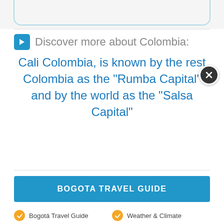[Figure (screenshot): Top partial arc/curve UI element (dialog top border)]
Discover more about Colombia: Cali Colombia, is known by the rest Colombia as the “Rumba Capital” and by the world as the “Salsa Capital”
BOGOTA TRAVEL GUIDE
Bogotá Travel Guide
Weather & Climate
General Information
History of Bogotá